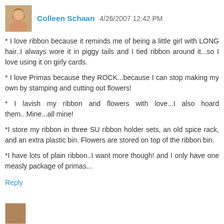[Figure (photo): Small avatar photo of a woman with blonde hair]
Colleen Schaan 4/26/2007 12:42 PM
* I love ribbon because it reminds me of being a little girl with LONG hair..I always wore it in piggy tails and I tied ribbon around it...so I love using it on girly cards.
* I love Primas because they ROCK...because I can stop making my own by stamping and cutting out flowers!
* I lavish my ribbon and flowers with love...I also hoard them...Mine...all mine!
*I store my ribbon in three SU ribbon holder sets, an old spice rack, and an extra plastic bin. Flowers are stored on top of the ribbon bin.
*I have lots of plain ribbon..I want more though! and I only have one measly package of primas...
Reply
[Figure (photo): Partial avatar photo at bottom of page]